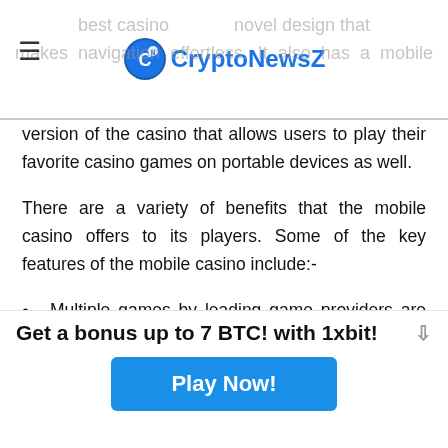CryptoNewsZ
version of the casino that allows users to play their favorite casino games on portable devices as well.
There are a variety of benefits that the mobile casino offers to its players. Some of the key features of the mobile casino include:-
Multiple games by leading game providers are available to play in one app. The Spin Samurai is
Get a bonus up to 7 BTC! with 1xbit!
Play Now!